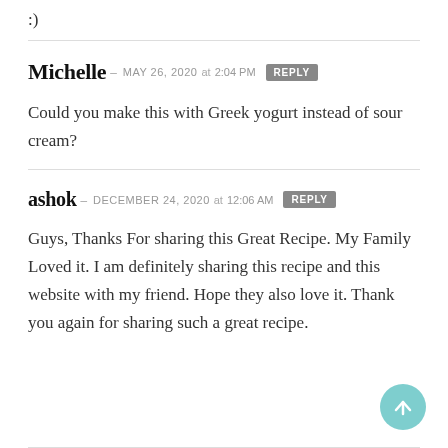:)
Michelle – MAY 26, 2020 at 2:04 PM  [REPLY]
Could you make this with Greek yogurt instead of sour cream?
ashok – DECEMBER 24, 2020 at 12:06 AM  [REPLY]
Guys, Thanks For sharing this Great Recipe. My Family Loved it. I am definitely sharing this recipe and this website with my friend. Hope they also love it. Thank you again for sharing such a great recipe.